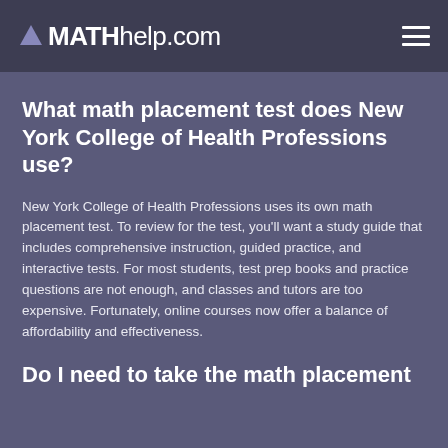MATHhelp.com
What math placement test does New York College of Health Professions use?
New York College of Health Professions uses its own math placement test. To review for the test, you'll want a study guide that includes comprehensive instruction, guided practice, and interactive tests. For most students, test prep books and practice questions are not enough, and classes and tutors are too expensive. Fortunately, online courses now offer a balance of affordability and effectiveness.
Do I need to take the math placement